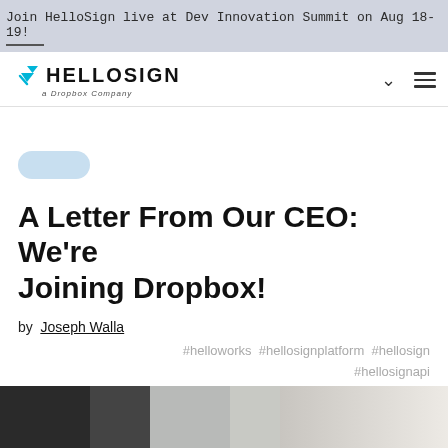Join HelloSign live at Dev Innovation Summit on Aug 18-19!
[Figure (logo): HelloSign logo with cyan triangle/arrow icon and text 'HELLOSIGN a Dropbox Company']
A Letter From Our CEO: We're Joining Dropbox!
by Joseph Walla
#helloworks #hellosignplatform #hellosign #hellosignapi
[Figure (photo): Partial photo at bottom of page showing dark and light toned image]